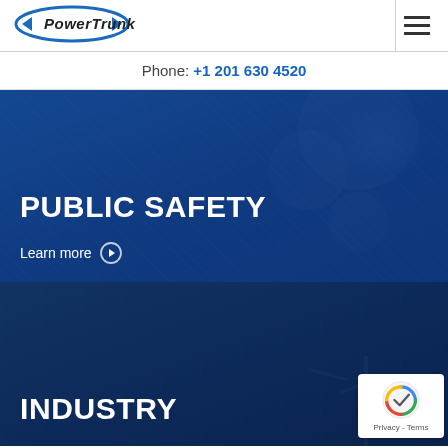[Figure (logo): PowerTrunk logo with oval blue graphic and bold italic text]
Phone: +1 201 630 4520
[Figure (photo): Public Safety hero section with blue overlay showing control room equipment]
PUBLIC SAFETY
Learn more
[Figure (photo): Industry hero section with dark blue overlay showing industrial/antenna equipment]
INDUSTRY